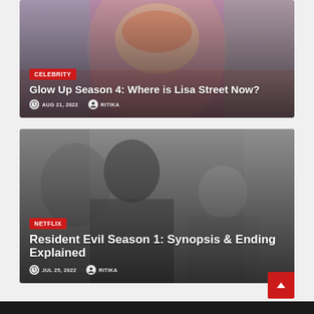[Figure (photo): Card 1: Close-up photo of a person with colorful artistic makeup, pink/purple hair. Overlaid with CELEBRITY tag, article title 'Glow Up Season 4: Where is Lisa Street Now?', date AUG 21, 2022, author RITIKA.]
[Figure (photo): Card 2: Grayscale photo of two young women/girls outdoors looking serious. Overlaid with NETFLIX tag, article title 'Resident Evil Season 1: Synopsis & Ending Explained', date JUL 25, 2022, author RITIKA.]